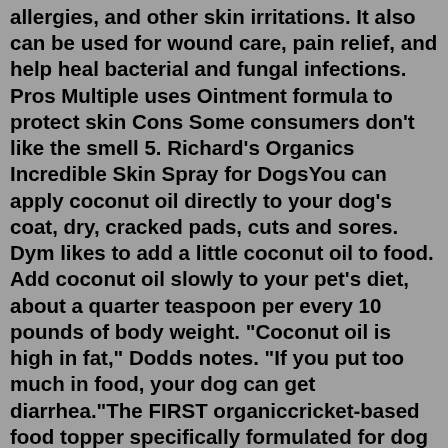allergies, and other skin irritations. It also can be used for wound care, pain relief, and help heal bacterial and fungal infections. Pros Multiple uses Ointment formula to protect skin Cons Some consumers don't like the smell 5. Richard's Organics Incredible Skin Spray for DogsYou can apply coconut oil directly to your dog's coat, dry, cracked pads, cuts and sores. Dym likes to add a little coconut oil to food. Add coconut oil slowly to your pet's diet, about a quarter teaspoon per every 10 pounds of body weight. "Coconut oil is high in fat," Dodds notes. "If you put too much in food, your dog can get diarrhea."The FIRST organiccricket-based food topper specifically formulated for dog allergies. Protein-rich cricket powder, powerful probiotics, and a unique reishi mushroom blend come together in Ultimate Dog's CHIRP Superfood Topper to provide unparalleled digestive support. But this nutrient-rich supplement goes beyond healing your pup's gut.Many dog owners wrongly assume it's safe to give their pet human painkillers such as ibuprofen or paracetamol, but this